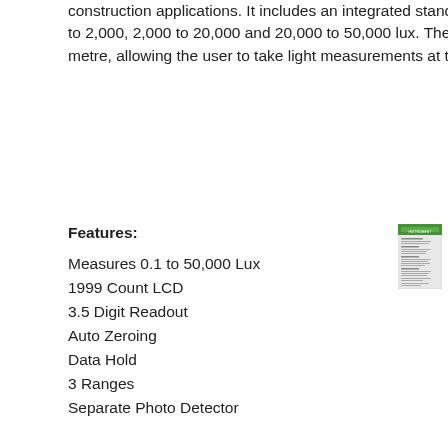construction applications. It includes an integrated stand and will measure incident light in 3 ranges: 0.1 to 200, 200 to 2,000, 2,000 to 20,000 and 20,000 to 50,000 lux. The photo detector is wired on a curly cord which extends to 1 metre, allowing the user to take light measurements at the optimum position. Sensor cover included.
Features:
Measures 0.1 to 50,000 Lux
1999 Count LCD
3.5 Digit Readout
Auto Zeroing
Data Hold
3 Ranges
Separate Photo Detector
[Figure (photo): Small thumbnail image of a product data sheet or specification label with green header.]
Warranty
- 1 Year Manufacturer Warranty + Additional
1 Year Instrument Choice Warranty